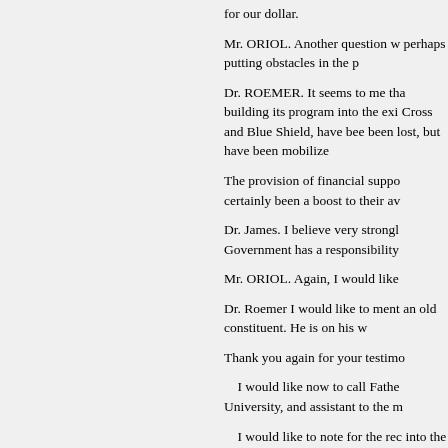for our dollar.
Mr. ORIOL. Another question w perhaps putting obstacles in the p
Dr. ROEMER. It seems to me tha building its program into the exi Cross and Blue Shield, have bee been lost, but have been mobilize
The provision of financial suppo certainly been a boost to their av
Dr. James. I believe very strongl Government has a responsibility
Mr. ORIOL. Again, I would like
Dr. Roemer I would like to ment an old constituent. He is on his w
Thank you again for your testimo
I would like now to call Fathe University, and assistant to the m
I would like to note for the rec into the record at this point.
(The letter follows:)